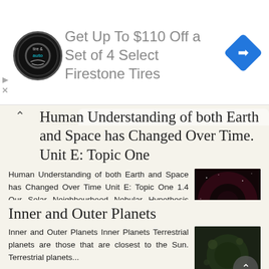[Figure (other): Advertisement banner: tire and auto logo circle, text 'Get Up To $110 Off a Set of 4 Select Firestone Tires', blue diamond navigation icon on right]
Human Understanding of both Earth and Space has Changed Over Time. Unit E: Topic One
Human Understanding of both Earth and Space has Changed Over Time Unit E: Topic One 1.4 Our Solar Neighbourhood Nebular Hypothesis The theory of how solar systems are formed Evolution of solar system
[Figure (photo): Dark space/nebula image with small white text overlay]
More information →
Inner and Outer Planets
Inner and Outer Planets Inner Planets Terrestrial planets are those that are closest to the Sun. Terrestrial planets...